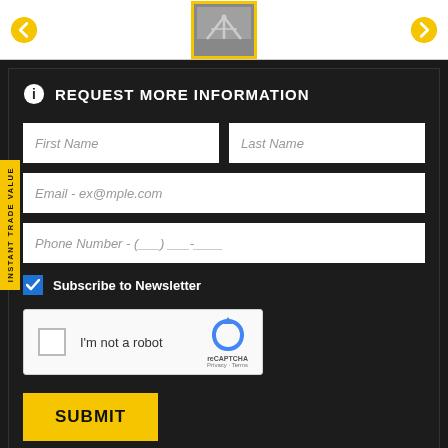[Figure (photo): Top section showing a photo thumbnail of a metal structure with yellow border, navigation arrows on left and right, white background strip]
INSTANT TRADE VALUE
REQUEST MORE INFORMATION
First Name
Last Name
Email - ex@mple.com
Phone Number - (___) ___-____
Subscribe to Newsletter
[Figure (screenshot): reCAPTCHA widget with checkbox, 'I'm not a robot' text, reCAPTCHA logo, Privacy and Terms links]
SUBMIT